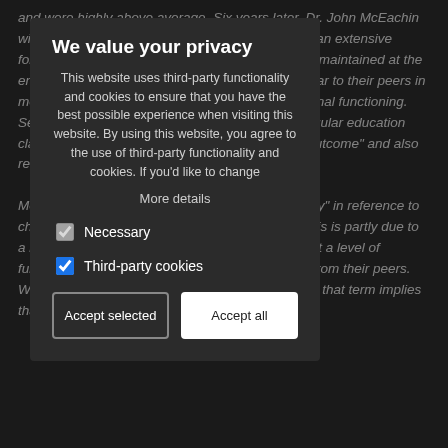and were highly above average. Six years later, Dr. John McEachin with the California Autism Partnership, conducted an extensive follow-up study. It showed intervention gains were maintained at the end of intervention and they achieved scores similar to their peers in measurements of IQ, adaptive skills, and educational functioning. Seven of the nine had continued to progress in regular education classes. These children were classified as "best outcome" and also referred to as "optimal outcome" children.
Most people disagree with using the term "recovery" in reference to children with Autism Spectrum Disorder (ASD). This is partly due to a lack of belief that children can actually perform at a level of functioning where they become indistinguishable from their peers. We are careful not to use the word "cure" because that term implies that the cause has been identified and removed.
[Figure (screenshot): Cookie consent popup overlay with title 'We value your privacy', body text about third-party functionality and cookies, 'More details' link, Necessary and Third-party cookies checkboxes, and Accept selected / Accept all buttons.]